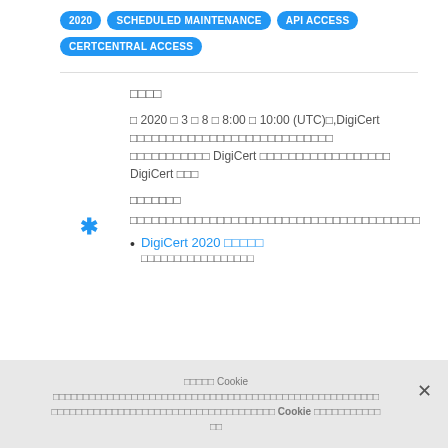2020
SCHEDULED MAINTENANCE
API ACCESS
CERTCENTRAL ACCESS
서비스 점검
이 2020 년 3 월 8 일 8:00 ~ 10:00 (UTC)동안, DigiCert 시스템에 정기 점검 작업이 있을 예정이며, 이 작업으로 인해 DigiCert 인증서 관련 서비스가 일시 중단됩니다 DigiCert 에 대해
영향 받는 서비스
이 유지보수 기간 동안 모든 DigiCert 인증서 관련 서비스 및 API 접근이 불가능합니다
DigiCert 2020 정기 점검 예약 관련 추가 정보를 확인하세요
쿠키 사용 Cookie 이 웹 사이트에서는 사용자 경험을 개선하기 위해 쿠키를 사용합니다. 당사 Cookie 사용에 대해 자세히 알아보려면 여기 를 클릭하세요. 동의